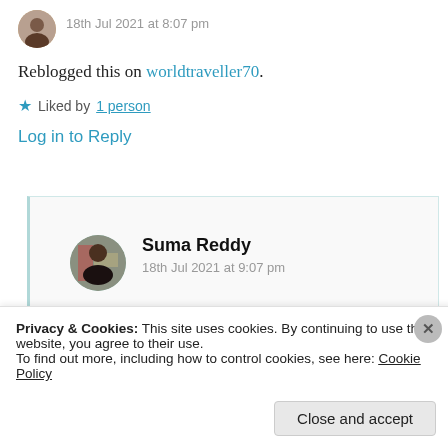18th Jul 2021 at 8:07 pm
Reblogged this on worldtraveller70.
Liked by 1 person
Log in to Reply
Suma Reddy
18th Jul 2021 at 9:07 pm
Privacy & Cookies: This site uses cookies. By continuing to use this website, you agree to their use. To find out more, including how to control cookies, see here: Cookie Policy
Close and accept